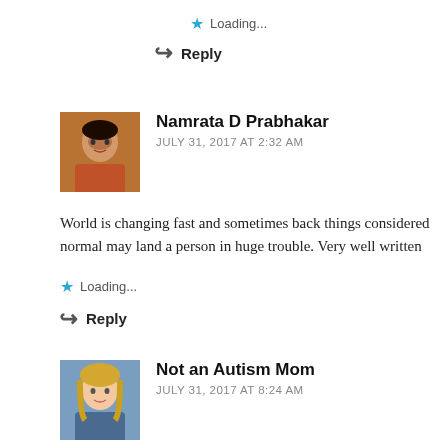★ Loading...
↩ Reply
[Figure (photo): Avatar photo of Namrata D Prabhakar, woman in orange top]
Namrata D Prabhakar
JULY 31, 2017 AT 2:32 AM
World is changing fast and sometimes back things considered normal may land a person in huge trouble. Very well written
★ Loading...
↩ Reply
[Figure (photo): Avatar photo of Not an Autism Mom, blonde woman]
Not an Autism Mom
JULY 31, 2017 AT 8:24 AM